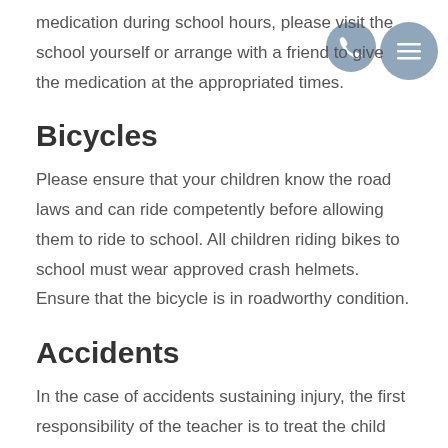medication during school hours, please visit the school yourself or arrange with a friend to give the medication at the appropriated times.
Bicycles
Please ensure that your children know the road laws and can ride competently before allowing them to ride to school. All children riding bikes to school must wear approved crash helmets. Ensure that the bicycle is in roadworthy condition.
Accidents
In the case of accidents sustaining injury, the first responsibility of the teacher is to treat the child and then contact the parent. Upon being contacted, it is the